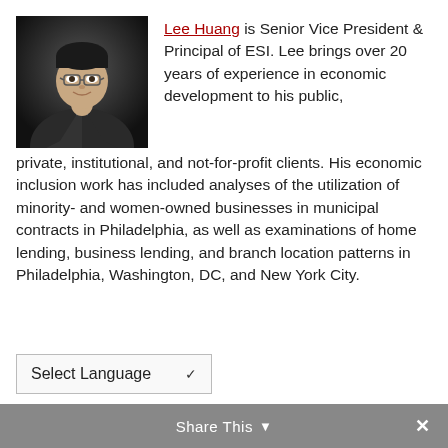[Figure (photo): Professional headshot of Lee Huang, a man with glasses wearing a suit and tie against a dark background]
Lee Huang is Senior Vice President & Principal of ESI. Lee brings over 20 years of experience in economic development to his public, private, institutional, and not-for-profit clients. His economic inclusion work has included analyses of the utilization of minority- and women-owned businesses in municipal contracts in Philadelphia, as well as examinations of home lending, business lending, and branch location patterns in Philadelphia, Washington, DC, and New York City.
Select Language
Share This ✓  ✕